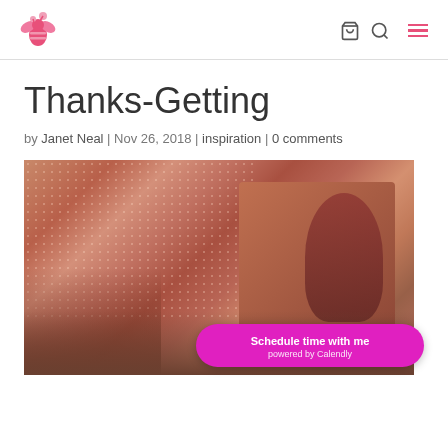[Logo: bee/flower icon] [cart icon] [search icon] [menu icon]
Thanks-Getting
by Janet Neal | Nov 26, 2018 | inspiration | 0 comments
[Figure (photo): Vintage sepia-toned photograph of two people, appears to show a woman and child sitting on the floor, in retro clothing with polka dot dress pattern. A Calendly scheduling button overlays the bottom-right corner.]